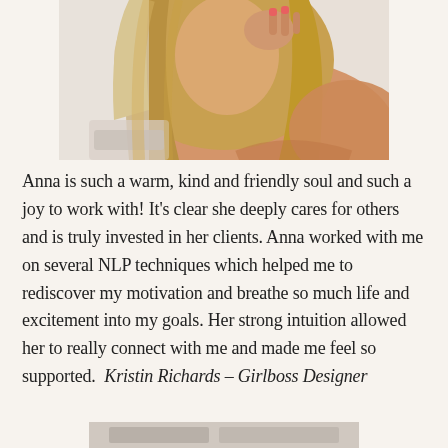[Figure (photo): Portrait photo of a blonde woman with wavy hair, touching her face, shot in a bright indoor setting]
Anna is such a warm, kind and friendly soul and such a joy to work with! It’s clear she deeply cares for others and is truly invested in her clients. Anna worked with me on several NLP techniques which helped me to rediscover my motivation and breathe so much life and excitement into my goals. Her strong intuition allowed her to really connect with me and made me feel so supported.  Kristin Richards – Girlboss Designer
[Figure (photo): Partial bottom image, appears to be another photo starting to appear at the very bottom of the page]